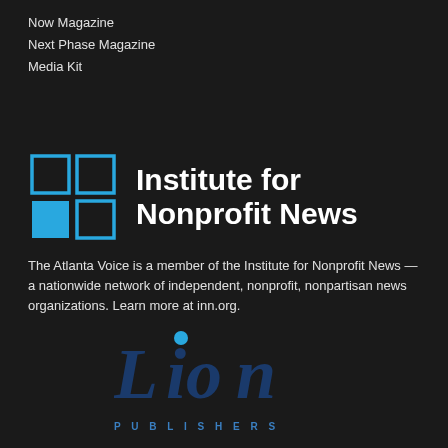Now Magazine
Next Phase Magazine
Media Kit
[Figure (logo): Institute for Nonprofit News logo — a 2x2 grid of squares in blue outline with bottom-left square filled blue, next to bold white text reading 'Institute for Nonprofit News']
The Atlanta Voice is a member of the Institute for Nonprofit News — a nationwide network of independent, nonprofit, nonpartisan news organizations. Learn more at inn.org.
[Figure (logo): Lion Publishers logo — stylized italic text 'Lion' in dark blue with a blue dot above the 'i', and 'PUBLISHERS' in spaced blue capitals below]